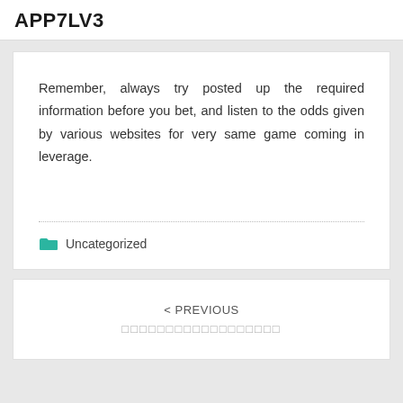APP7LV3
Remember, always try posted up the required information before you bet, and listen to the odds given by various websites for very same game coming in leverage.
Uncategorized
< PREVIOUS